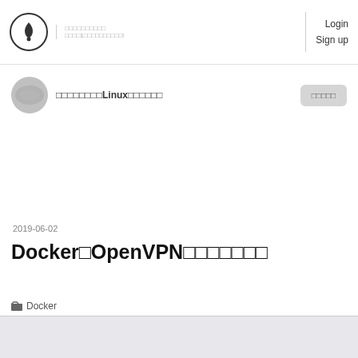Login Sign up
□□□□□□□□□Linux□□□□□□
2019-06-02
Docker□OpenVPN□□□□□□□
Docker